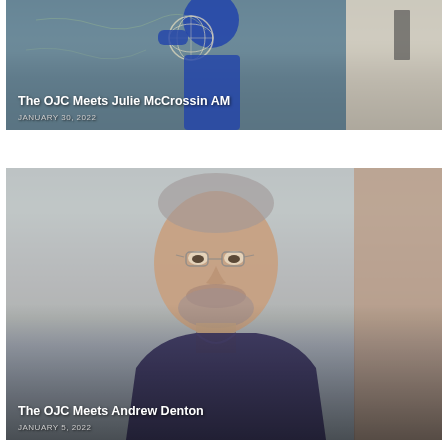[Figure (photo): Video thumbnail showing a person in a blue top holding a white mesh/net ball against a background with map and equipment. Title overlay: The OJC Meets Julie McCrossin AM. Date: JANUARY 30, 2022.]
[Figure (photo): Video thumbnail showing a middle-aged man with grey hair, beard and glasses wearing a dark blue/purple shirt, seated in front of a blurred light background with a section of brown/beige wall to the right. Title overlay: The OJC Meets Andrew Denton. Date: JANUARY 5, 2022.]